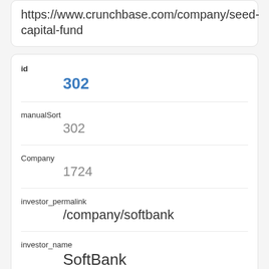https://www.crunchbase.com/company/seed-capital-fund
id
302
manualSort
302
Company
1724
investor_permalink
/company/softbank
investor_name
SoftBank
investor_category_code
mobile
investor_country_code
JPN
investor_state_code
investor_region